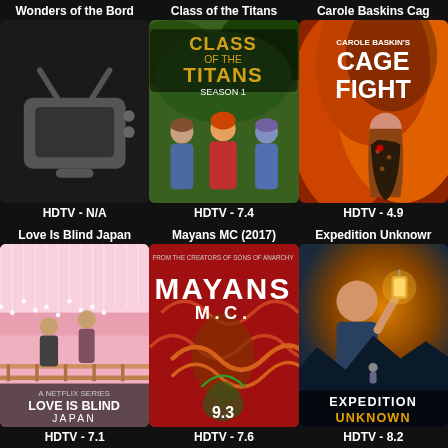[Figure (screenshot): TV show grid card: Wonders of the Bord - placeholder TV icon image, HDTV - N/A]
[Figure (screenshot): TV show grid card: Class of the Titans - animated show poster Season 1, HDTV - 7.4]
[Figure (screenshot): TV show grid card: Carole Baskins Cage Fight - woman on fiery background poster, HDTV - 4.9]
[Figure (screenshot): TV show grid card: Love Is Blind Japan - Netflix series poster with couple silhouette, HDTV - 7.1]
[Figure (screenshot): TV show grid card: Mayans MC (2017) - red poster with Mayans MC text, HDTV - 7.6]
[Figure (screenshot): TV show grid card: Expedition Unknown - man with lantern poster, HDTV - 8.2]